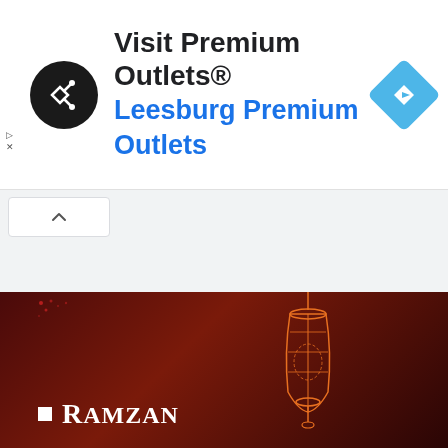[Figure (screenshot): Google ad banner for Visit Premium Outlets® - Leesburg Premium Outlets with circular dark logo and blue navigation diamond icon]
[Figure (screenshot): Monster.com job listing widget showing three job postings: Research Associate at UIC Ophthalmology & Visua..., Chicago IL; Account Manager at So Flo Division - USHA, Plantation FL; PART-TIME CASHIER at Aldi Inc., Chanhassen MN. Purple View More Jobs button at bottom.]
[Figure (screenshot): Ramzan promotional banner with dark red/maroon background, decorative lantern illustration, white square bullet and RAMZAN text in white serif font]